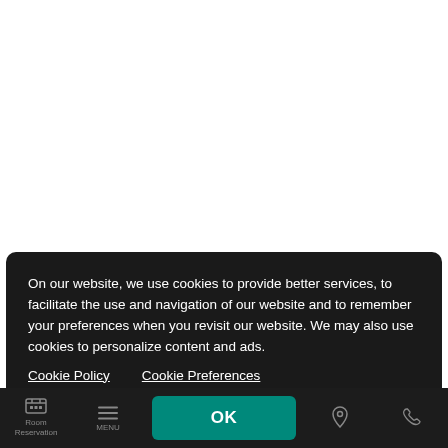[Figure (screenshot): White area representing the top portion of a website page, mostly blank/white content area]
On our website, we use cookies to provide better services, to facilitate the use and navigation of our website and to remember your preferences when you revisit our website. We may also use cookies to personalize content and ads. Cookie Policy   Cookie Preferences
Room Reservation   MENU   OK   (location icon)   (call icon)